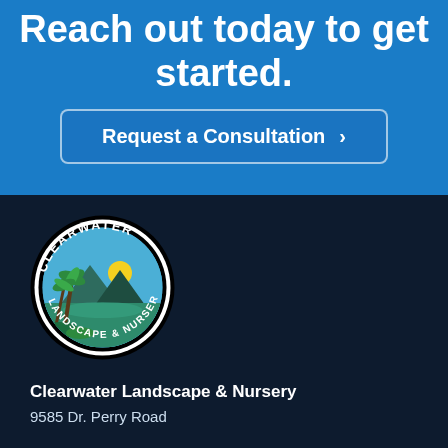Reach out today to get started.
Request a Consultation ›
[Figure (logo): Clearwater Landscape & Nursery circular logo with palm trees, mountains, sun, and water scene]
Clearwater Landscape & Nursery
9585 Dr. Perry Road